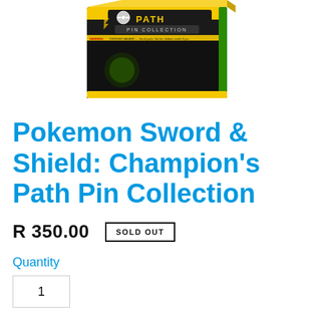[Figure (photo): Pokemon Sword & Shield Champion's Path Pin Collection product box, black and yellow themed packaging with 'CHAMPION PATH' and 'PIN COLLECTION' text visible, shown at a slight angle.]
Pokemon Sword & Shield: Champion’s Path Pin Collection
R 350.00  SOLD OUT
Quantity
1